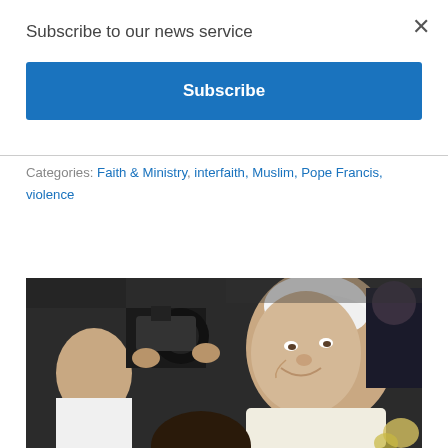×
Subscribe to our news service
Subscribe
interfaith, Muslim, Pope Francis, violence
[Figure (photo): Pope Francis smiling and leaning toward a child, with photographers in the background capturing the moment.]